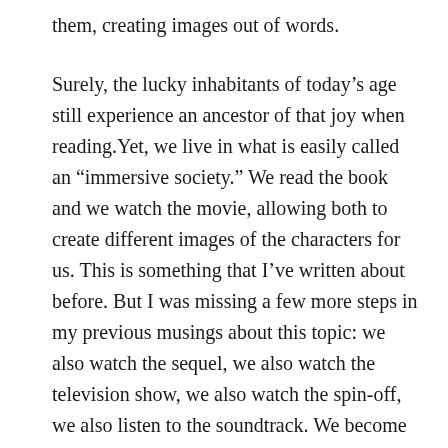them, creating images out of words.
Surely, the lucky inhabitants of today’s age still experience an ancestor of that joy when reading.Yet, we live in what is easily called an “immersive society.” We read the book and we watch the movie, allowing both to create different images of the characters for us. This is something that I’ve written about before. But I was missing a few more steps in my previous musings about this topic: we also watch the sequel, we also watch the television show, we also watch the spin-off, we also listen to the soundtrack. We become completely immersed in what we are interested in.